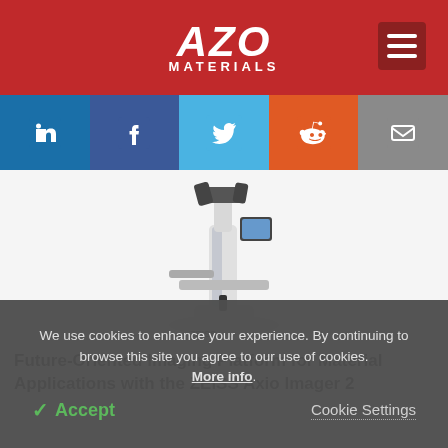AZO MATERIALS
[Figure (logo): AZO Materials logo on red header background]
[Figure (illustration): Social media share buttons: LinkedIn, Facebook, Twitter, Reddit, Email]
[Figure (photo): ZEISS Axio Imager 2 microscope on white background]
Future-Oriented Imaging Platform for Material Applications with the ZEISS Axio Imager 2
We use cookies to enhance your experience. By continuing to browse this site you agree to our use of cookies. More info.